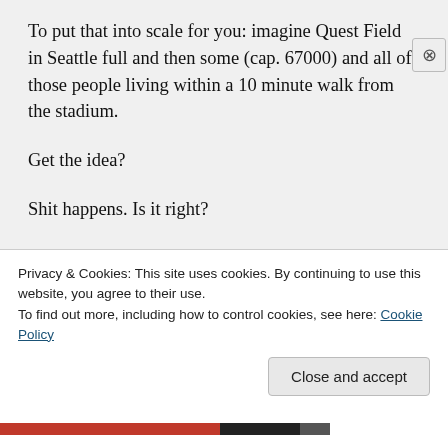To put that into scale for you: imagine Quest Field in Seattle full and then some (cap. 67000) and all of those people living within a 10 minute walk from the stadium.
Get the idea?
Shit happens. Is it right?
Nope.
Is it right to find a 4 year old girl legally
Privacy & Cookies: This site uses cookies. By continuing to use this website, you agree to their use.
To find out more, including how to control cookies, see here: Cookie Policy